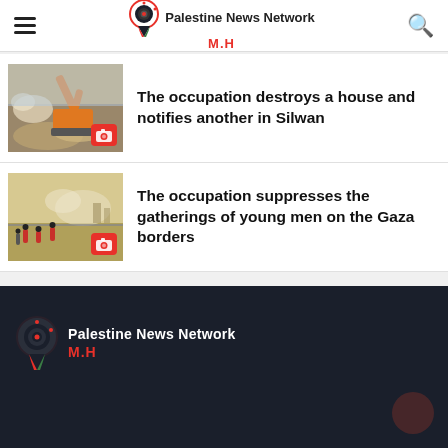Palestine News Network M.H
The occupation destroys a house and notifies another in Silwan
[Figure (photo): Excavator demolishing a building with rubble and dust]
The occupation suppresses the gatherings of young men on the Gaza borders
[Figure (photo): People gathered near the Gaza border fence in a dusty field]
Palestine News Network M.H